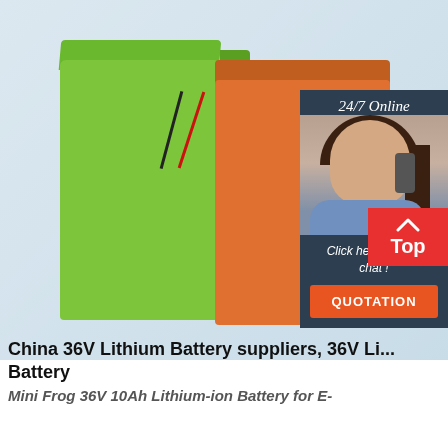[Figure (photo): Product photo showing two lithium batteries side by side — one green and one orange — with wires/connectors visible. Overlaid in the top-right corner is an advertisement panel with '24/7 Online' text, a photo of a woman with a headset, 'Click here for free chat!' text, and an orange 'QUOTATION' button. A red 'Top' scroll-to-top button is in the lower-right corner of the image.]
China 36V Lithium Battery suppliers, 36V Li... Battery
Mini Frog 36V 10Ah Lithium-ion Battery for E-